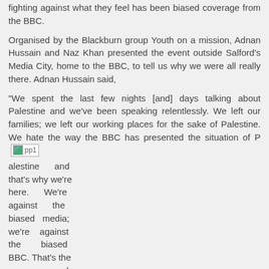fighting against what they feel has been biased coverage from the BBC.
Organised by the Blackburn group Youth on a mission, Adnan Hussain and Naz Khan presented the event outside Salford's Media City, home to the BBC, to tell us why we were all really there. Adnan Hussain said,
“We spent the last few nights [and] days talking about Palestine and we’ve been speaking relentlessly. We left our families; we left our working places for the sake of Palestine. We hate the way the BBC has presented the situation of Palestine and that’s why we’re here. We’re against the biased media; we’re against the biased BBC. That’s the purpose and the aim of why we’re here.”
[Figure (photo): A photo thumbnail labeled pp1 appearing inline in the text]